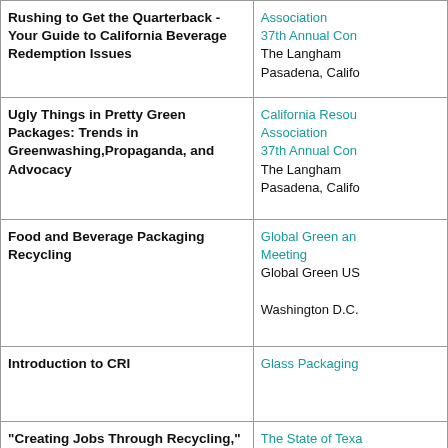| Presentation/Topic | Event/Organization |
| --- | --- |
| Rushing to Get the Quarterback - Your Guide to California Beverage Redemption Issues | Association
37th Annual Con
The Langham
Pasadena, Califo |
| Ugly Things in Pretty Green Packages: Trends in Greenwashing,Propaganda, and Advocacy | California Resou
Association
37th Annual Con
The Langham
Pasadena, Califo |
| Food and Beverage Packaging Recycling | Global Green an
Meeting
Global Green US

Washington D.C. |
| Introduction to CRI | Glass Packaging |
| "Creating Jobs Through Recycling," | The State of Texa
(STAR) 15th Ann
Sustainability Su
Omni Bayfront H
Texas |
| "Material Quality" | The State of Texa
(STAR) 15th Ann
Sustainability Su |